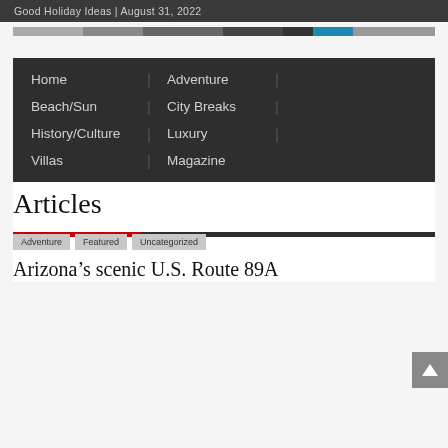Good Holiday Ideas | August 31, 2022
[Figure (photo): Narrow horizontal image strip showing travel/holiday photos]
[Figure (screenshot): Dark navigation menu block with items: Home, Adventure, Beach/Sun, City Breaks, History/Culture, Luxury, Villas, Magazine]
Articles
Adventure
Featured
Uncategorized
Arizona's scenic U.S. Route 89A